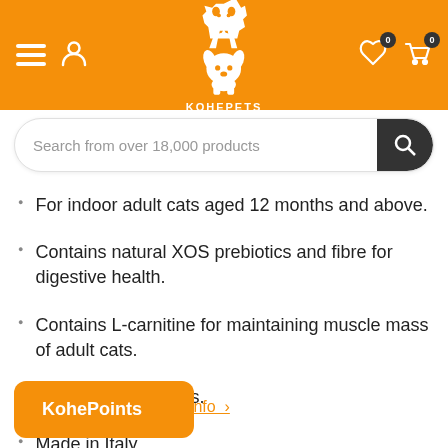[Figure (screenshot): KohePets website header with orange background, hamburger menu, user icon, dog logo with KOHEPETS text, heart icon with badge 0, cart icon with badge 0]
[Figure (screenshot): Search bar with placeholder text 'Search from over 18,000 products' and dark search button]
For indoor adult cats aged 12 months and above.
Contains natural XOS prebiotics and fibre for digestive health.
Contains L-carnitine for maintaining muscle mass of adult cats.
No GMO ingredients.
Made in Italy.
Show More Product Info ›
KohePoints